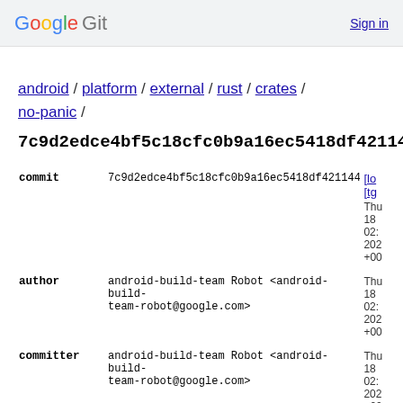Google Git   Sign in
android / platform / external / rust / crates / no-panic /
7c9d2edce4bf5c18cfc0b9a16ec5418df421144b
| field | value | links |
| --- | --- | --- |
| commit | 7c9d2edce4bf5c18cfc0b9a16ec5418df421144b | [lo [tg |
|  | Thu 18 02: 202 +00 |  |
| author | android-build-team Robot <android-build-team-robot@google.com> | Thu 18 02: 202 +00 |
| committer | android-build-team Robot <android-build-team-robot@google.com> | Thu 18 02: 202 +00 |